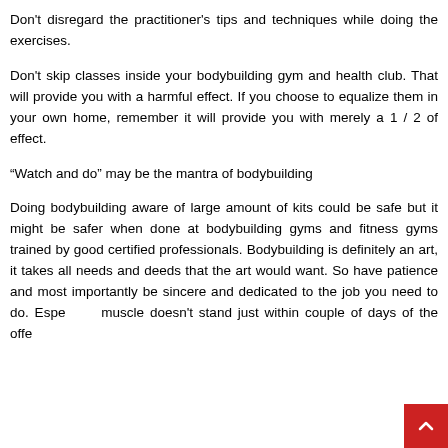Don't disregard the practitioner's tips and techniques while doing the exercises.
Don't skip classes inside your bodybuilding gym and health club. That will provide you with a harmful effect. If you choose to equalize them in your own home, remember it will provide you with merely a 1 / 2 of effect.
“Watch and do” may be the mantra of bodybuilding
Doing bodybuilding aware of large amount of kits could be safe but it might be safer when done at bodybuilding gyms and fitness gyms trained by good certified professionals. Bodybuilding is definitely an art, it takes all needs and deeds that the art would want. So have patience and most importantly be sincere and dedicated to the job you need to do. Espe muscle doesn't stand just within couple of days of the offe